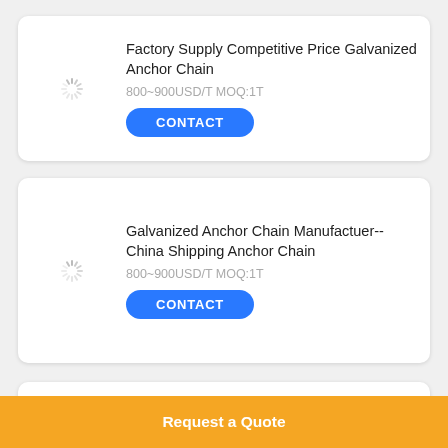[Figure (other): Loading spinner icon for product image]
Factory Supply Competitive Price Galvanized Anchor Chain
800~900USD/T MOQ:1T
CONTACT
[Figure (other): Loading spinner icon for product image]
Galvanized Anchor Chain Manufactuer--China Shipping Anchor Chain
800~900USD/T MOQ:1T
CONTACT
[Figure (other): Loading spinner icon for product image]
In Stock Fast Delivery Wordwide Galvanized
Request a Quote